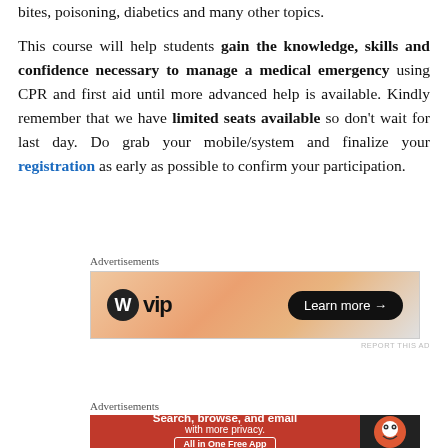bites, poisoning, diabetics and many other topics.
This course will help students gain the knowledge, skills and confidence necessary to manage a medical emergency using CPR and first aid until more advanced help is available. Kindly remember that we have limited seats available so don't wait for last day. Do grab your mobile/system and finalize your registration as early as possible to confirm your participation.
[Figure (screenshot): WordPress VIP advertisement banner with gradient orange background and Learn more button]
[Figure (infographic): Dark red banner with italic text: A first step towards change is awareness.. | The second step is acceptance.]
[Figure (screenshot): DuckDuckGo advertisement: Search, browse, and email with more privacy. All in One Free App]